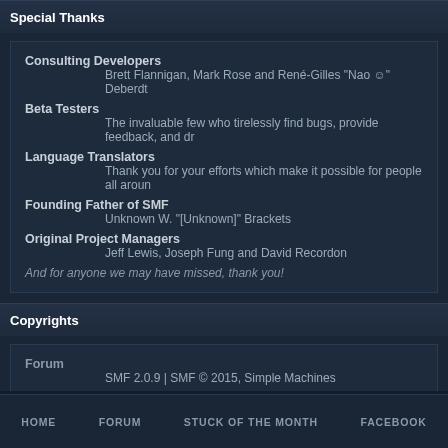Special Thanks
Consulting Developers
Brett Flannigan, Mark Rose and René-Gilles "Nao ☺" Deberdt
Beta Testers
The invaluable few who tirelessly find bugs, provide feedback, and dr…
Language Translators
Thank you for your efforts which make it possible for people all aroun…
Founding Father of SMF
Unknown W. "[Unknown]" Brackets
Original Project Managers
Jeff Lewis, Joseph Fung and David Recordon
And for anyone we may have missed, thank you!
Copyrights
Forum
SMF 2.0.9 | SMF © 2015, Simple Machines
HOME   FORUM   STUCK OF THE MONTH   FACEBOOK